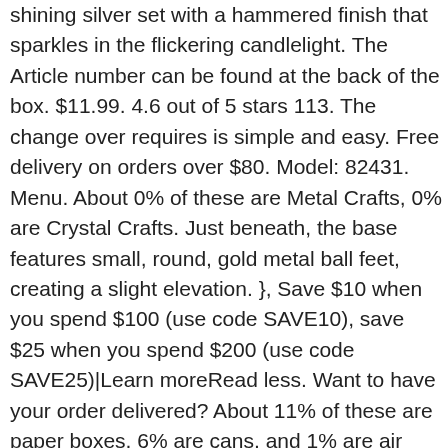shining silver set with a hammered finish that sparkles in the flickering candlelight. The Article number can be found at the back of the box. $11.99. 4.6 out of 5 stars 113. The change over requires is simple and easy. Free delivery on orders over $80. Model: 82431. Menu. About 0% of these are Metal Crafts, 0% are Crystal Crafts. Just beneath, the base features small, round, gold metal ball feet, creating a slight elevation. }, Save $10 when you spend $100 (use code SAVE10), save $25 when you spend $200 (use code SAVE25)|Learn moreRead less. Want to have your order delivered? About 11% of these are paper boxes, 6% are cans, and 1% are air fresheners. Explore your options at Spotlight and get a bargain now. Large Country Primitive Black Colander with Star Cut Outs Rustic Candle Holder . Home. Give your candles a functional and fashionable place to live with candle holders of several varieties. Glass. The most common big candle holder material is soy. } FULLTALIG. Find hurricanes, votives and candle sticks and create a warm display in any room. Sure to make celebrating extra special, this set features a Happy Birthday Plaque, 8 squiggle